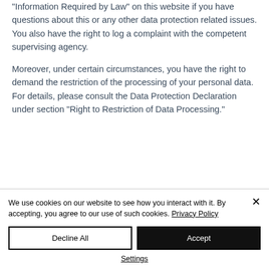“Information Required by Law” on this website if you have questions about this or any other data protection related issues. You also have the right to log a complaint with the competent supervising agency.
Moreover, under certain circumstances, you have the right to demand the restriction of the processing of your personal data. For details, please consult the Data Protection Declaration under section “Right to Restriction of Data Processing.”
We use cookies on our website to see how you interact with it. By accepting, you agree to our use of such cookies. Privacy Policy
Decline All
Accept
Settings